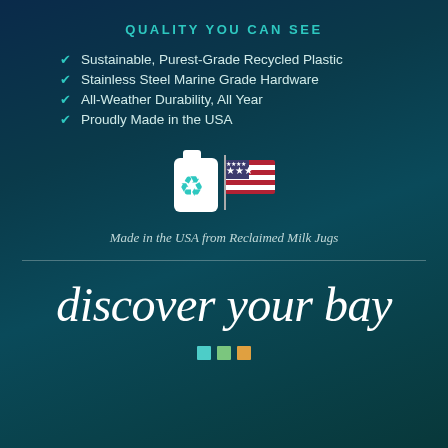QUALITY YOU CAN SEE
Sustainable, Purest-Grade Recycled Plastic
Stainless Steel Marine Grade Hardware
All-Weather Durability, All Year
Proudly Made in the USA
[Figure (illustration): A white recycling jug icon with teal recycling arrows symbol next to an American flag emoji]
Made in the USA from Reclaimed Milk Jugs
discover your bay
[Figure (other): Three small colored squares: teal, green, and yellow/orange]